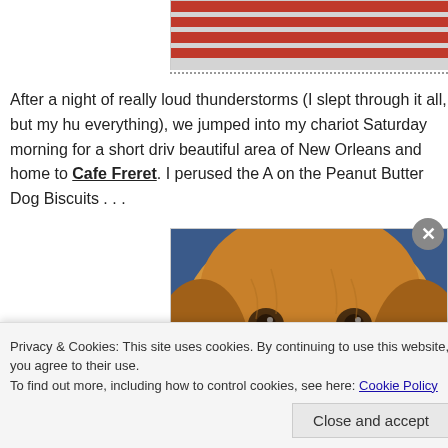[Figure (photo): Partial view of what appears to be a flag or banner with red and grey horizontal stripes, cropped at top of page]
After a night of really loud thunderstorms (I slept through it all, but my hu everything), we jumped into my chariot Saturday morning for a short driv beautiful area of New Orleans and home to Cafe Freret. I perused the A on the Peanut Butter Dog Biscuits . . .
[Figure (photo): Close-up photograph of a golden retriever dog's face, showing warm golden-brown fur, dark eyes, and soft features]
Privacy & Cookies: This site uses cookies. By continuing to use this website, you agree to their use.
To find out more, including how to control cookies, see here: Cookie Policy
Close and accept